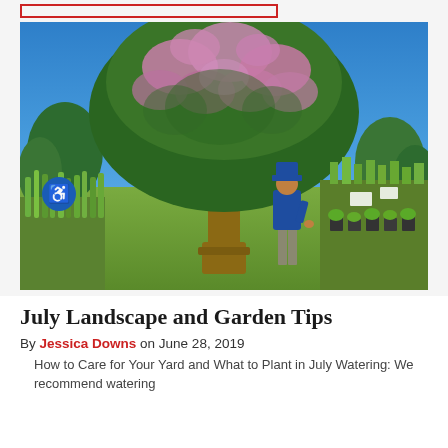[Figure (photo): A large flowering crape myrtle tree with pink/purple blossoms in a nursery setting. A person in a blue shirt and cap stands beneath the tree looking up. Various potted plants and nursery stock are visible in the background under a clear blue sky.]
July Landscape and Garden Tips
By Jessica Downs on June 28, 2019
How to Care for Your Yard and What to Plant in July Watering: We recommend watering